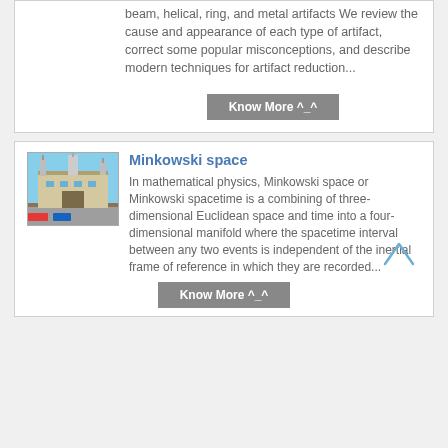beam, helical, ring, and metal artifacts We review the cause and appearance of each type of artifact, correct some popular misconceptions, and describe modern techniques for artifact reduction...
Know More ^_^
Minkowski space
[Figure (photo): Photo of a building exterior, likely an airport or public facility with towers, under a blue sky.]
In mathematical physics, Minkowski space or Minkowski spacetime is a combining of three-dimensional Euclidean space and time into a four-dimensional manifold where the spacetime interval between any two events is independent of the inertial frame of reference in which they are recorded...
Know More ^_^